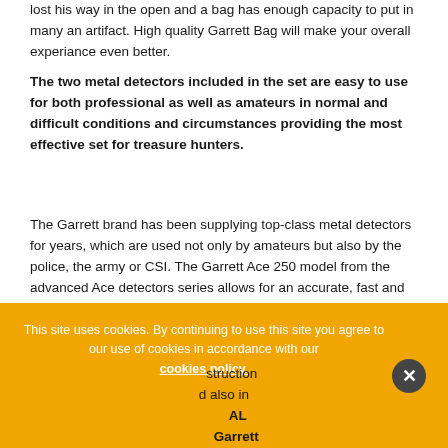lost his way in the open and a bag has enough capacity to put in many an artifact. High quality Garrett Bag will make your overall experiance even better.
The two metal detectors included in the set are easy to use for both professional as well as amateurs in normal and difficult conditions and circumstances providing the most effective set for treasure hunters.
The Garrett brand has been supplying top-class metal detectors for years, which are used not only by amateurs but also by the police, the army or CSI. The Garrett Ace 250 model from the advanced Ace detectors series allows for an accurate, fast and effective search. It is incredibly pleasant to use thanks to its simple operation, low weight and excellent ergonomics.Garrett Ace 250 has 5 modes of operation. The second detector PRO-POINTER AT detector due to its compact dimensions works ideally as a device supporting a user while [...]struction [...] also in AL Garrett
This site uses cookies. By continuing to use this site you agree to our use of cookies in accordance with our cookies policy.